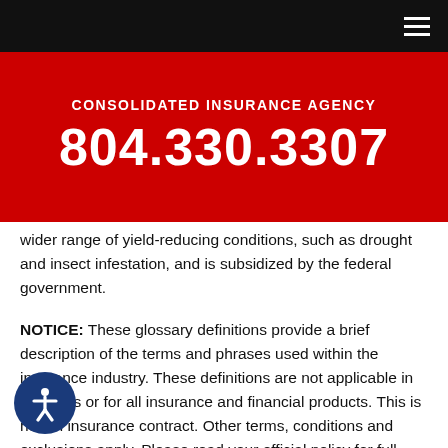CONSOLIDATED INSURANCE AGENCY
804.330.3307
wider range of yield-reducing conditions, such as drought and insect infestation, and is subsidized by the federal government.
NOTICE: These glossary definitions provide a brief description of the terms and phrases used within the insurance industry. These definitions are not applicable in all states or for all insurance and financial products. This is not an insurance contract. Other terms, conditions and exclusions apply. Please read your official policy for full details about coverages. These definitions do not alter or modify the terms of any insurance contract. If there is any conflict between these definitions and the provisions of the applicable insurance policy, the terms of the policy control. Additionally, this informational resource is not intended to fully set out your rights and obligations or the